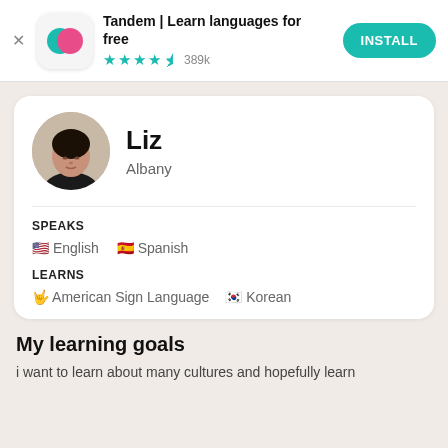Tandem | Learn languages for free  ★★★★½ 389k  INSTALL
Liz
Albany
SPEAKS
🇺🇸 English   🇪🇸 Spanish
LEARNS
🤟 American Sign Language   🇰🇷 Korean
My learning goals
i want to learn about many cultures and hopefully learn